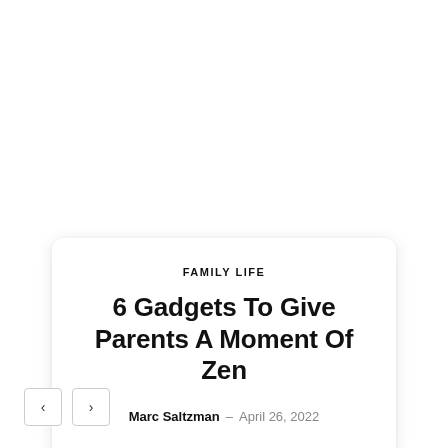FAMILY LIFE
6 Gadgets To Give Parents A Moment Of Zen
Marc Saltzman – April 26, 2022